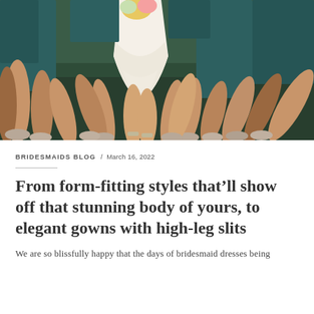[Figure (photo): Photograph of bridesmaids and bride in a circle with legs and feet visible, wearing teal dresses and strappy sandals on green grass. Bride in white lace gown at center.]
BRIDESMAIDS BLOG / March 16, 2022
From form-fitting styles that’ll show off that stunning body of yours, to elegant gowns with high-leg slits
We are so blissfully happy that the days of bridesmaid dresses being